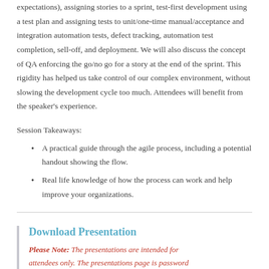expectations), assigning stories to a sprint, test-first development using a test plan and assigning tests to unit/one-time manual/acceptance and integration automation tests, defect tracking, automation test completion, sell-off, and deployment. We will also discuss the concept of QA enforcing the go/no go for a story at the end of the sprint. This rigidity has helped us take control of our complex environment, without slowing the development cycle too much. Attendees will benefit from the speaker's experience.
Session Takeaways:
A practical guide through the agile process, including a potential handout showing the flow.
Real life knowledge of how the process can work and help improve your organizations.
Download Presentation
Please Note: The presentations are intended for attendees only. The presentations page is password